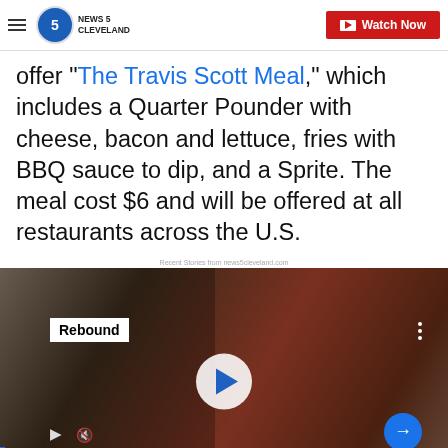NEWS 5 CLEVELAND | Watch Now
offer "The Travis Scott Meal," which includes a Quarter Pounder with cheese, bacon and lettuce, fries with BBQ sauce to dip, and a Sprite. The meal cost $6 and will be offered at all restaurants across the U.S.
Recent Stories from news5cleveland.com
[Figure (screenshot): Video thumbnail showing a man in a dark polo shirt at what appears to be a job fair or event. Overlay text reads 'Rebound'. Large play button in center. Bottom caption bar reads 'Ohio employers ditch old hiring practices to attract new employees'.]
Ohio employers ditch old hiring practices to attract new employees